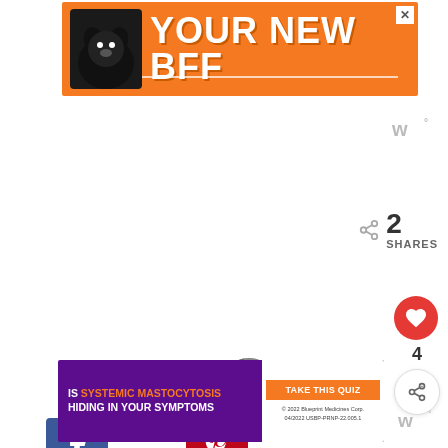[Figure (infographic): Orange advertisement banner with a black dog silhouette and text YOUR NEW BFF with an X close button]
[Figure (logo): Wunderkind logo top right with stylized W and degree symbol]
[Figure (infographic): Facebook share button (blue square with f icon) and Pinterest share button (red square with P icon)]
2 SHARES
[Figure (infographic): Floating red heart like button showing count 4 and a share/forward button]
[Figure (infographic): What's Next card showing a woman's photo thumbnail, label WHAT'S NEXT with arrow, and title To The Girl Who Gave T...]
[Figure (infographic): Purple advertisement banner: IS SYSTEMIC MASTOCYTOSIS HIDING IN YOUR SYMPTOMS with TAKE THIS QUIZ button and 2022 Blueprint Medicines Corp copyright]
[Figure (logo): Wunderkind logo bottom right]